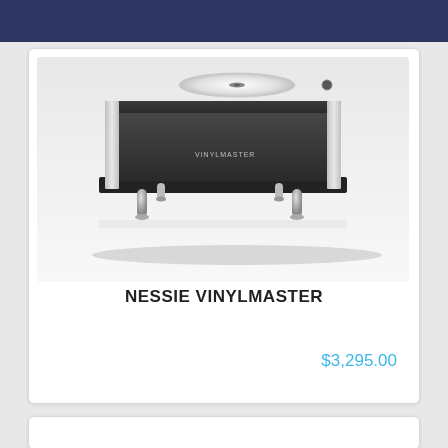[Figure (photo): Photo of the Nessie Vinylmaster turntable, a high-end record player with a black rectangular body, silver corner accents, chrome feet, and a white platter on top. The word VINYLMASTER is visible on the front of the unit.]
NESSIE VINYLMASTER
$3,295.00